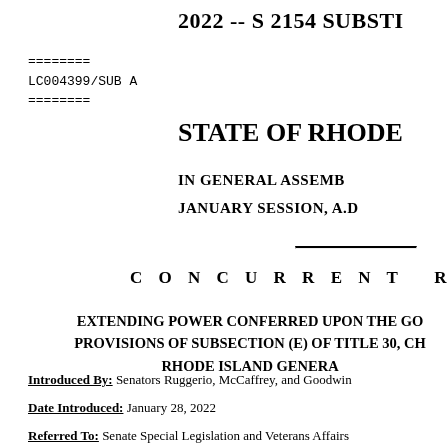2022 -- S 2154 SUBSTI
========
LC004399/SUB A
========
STATE OF RHODE
IN GENERAL ASSEMB
JANUARY SESSION, A.D
C O N C U R R E N T  R E S O
EXTENDING POWER CONFERRED UPON THE GO
PROVISIONS OF SUBSECTION (E) OF TITLE 30, CH
RHODE ISLAND GENERA
Introduced By: Senators Ruggerio, McCaffrey, and Goodwin
Date Introduced: January 28, 2022
Referred To: Senate Special Legislation and Veterans Affairs